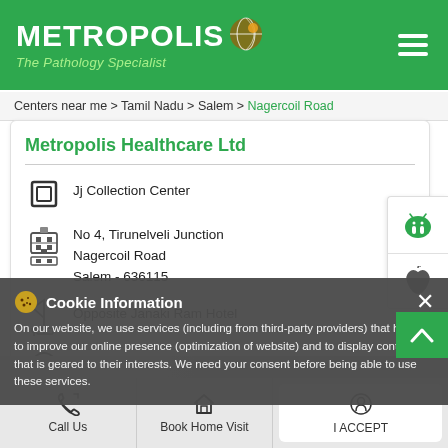[Figure (logo): Metropolis The Pathology Specialist logo with green background]
Centers near me > Tamil Nadu > Salem > Nagercoil Road
Metropolis Healthcare Ltd
Jj Collection Center
No 4, Tirunelveli Junction
Nagercoil Road
Salem - 636115
Opposite Janaki Ram Hotel
Opens at 08:00 AM
Cookie Information
On our website, we use services (including from third-party providers) that help us to improve our online presence (optimization of website) and to display content that is geared to their interests. We need your consent before being able to use these services.
Call Us
Book Home Visit
Directions
I ACCEPT